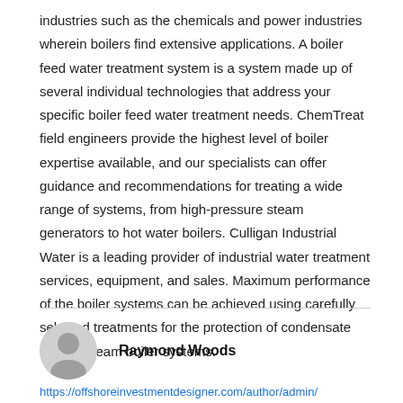industries such as the chemicals and power industries wherein boilers find extensive applications. A boiler feed water treatment system is a system made up of several individual technologies that address your specific boiler feed water treatment needs. ChemTreat field engineers provide the highest level of boiler expertise available, and our specialists can offer guidance and recommendations for treating a wide range of systems, from high-pressure steam generators to hot water boilers. Culligan Industrial Water is a leading provider of industrial water treatment services, equipment, and sales. Maximum performance of the boiler systems can be achieved using carefully selected treatments for the protection of condensate lines in steam boiler systems.
Raymond Woods
https://offshoreinvestmentdesigner.com/author/admin/